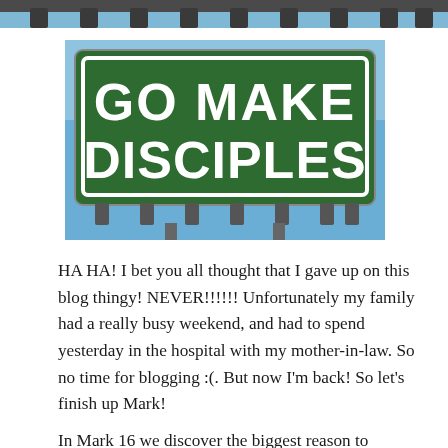[Figure (photo): Partial top strip of an image showing a billboard structure against a sky background]
[Figure (photo): A green billboard sign with white text reading 'GO MAKE DISCIPLES', mounted on a metal frame against a blue sky]
HA HA! I bet you all thought that I gave up on this blog thingy! NEVER!!!!!! Unfortunately my family had a really busy weekend, and had to spend yesterday in the hospital with my mother-in-law. So no time for blogging :(. But now I'm back! So let's finish up Mark!
In Mark 16 we discover the biggest reason to